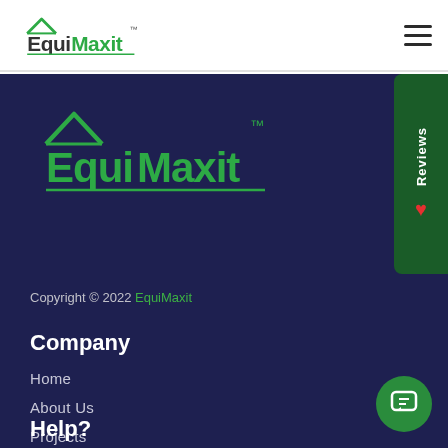EquiMaxit (logo) | Hamburger menu
[Figure (logo): EquiMaxit logo large green on dark navy background]
Copyright © 2022 EquiMaxit
Company
Home
About Us
Projects
Get Estimate
Help?